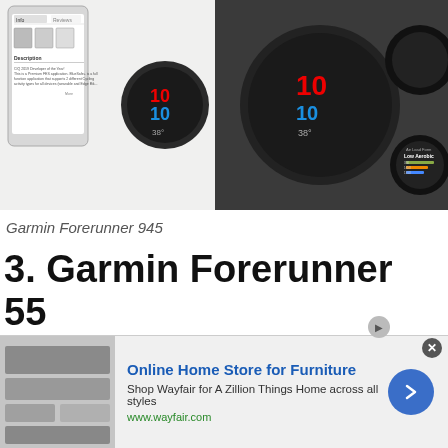[Figure (photo): Product photo of Garmin Forerunner 945 smartwatch shown from multiple angles, including app screenshots and watch face displays on both a phone and the watch itself.]
Garmin Forerunner 945
3. Garmin Forerunner 55
The Garmin Forerunner 55 is a budget-friendly running watch featuring useful functions. It meets all of the essential requirements for new runners.
[Figure (screenshot): Advertisement banner for Wayfair Online Home Store for Furniture. Shows furniture image, text 'Online Home Store for Furniture', 'Shop Wayfair for A Zillion Things Home across all styles', 'www.wayfair.com', and a blue arrow button.]